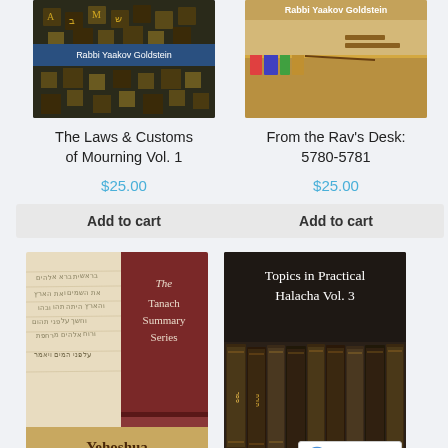[Figure (photo): Book cover: The Laws & Customs of Mourning Vol. 1 by Rabbi Yaakov Goldstein - top portion of book cover showing dark background with gold/yellow accents]
The Laws & Customs of Mourning Vol. 1
$25.00
Add to cart
[Figure (photo): Book cover: From the Rav's Desk: 5780-5781 by Rabbi Yaakov Goldstein - top portion showing desk scene]
From the Rav's Desk: 5780-5781
$25.00
Add to cart
[Figure (photo): Book cover: The Tanach Summary Series - Yehoshua, showing parchment background with dark red/maroon panel with text]
[Figure (photo): Book cover: Topics in Practical Halacha Vol. 3 by Rabbi Yaakov Goldstein, showing row of seforim/books on shelf]